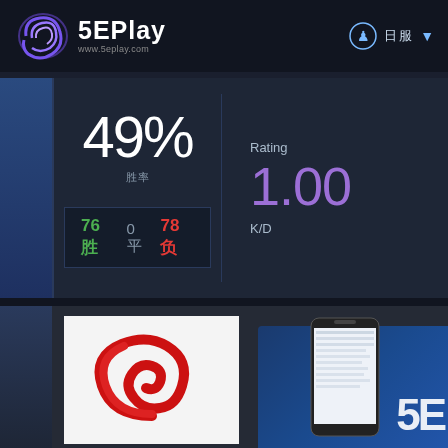5EPlay www.5eplay.com
49%
胜率
76胜  0平  78负
Rating
1.00
K/D
[Figure (logo): 5EPlay red swirl logo on white background]
7天
[Figure (photo): Mobile phone showing 5EPlay app with 5E branding]